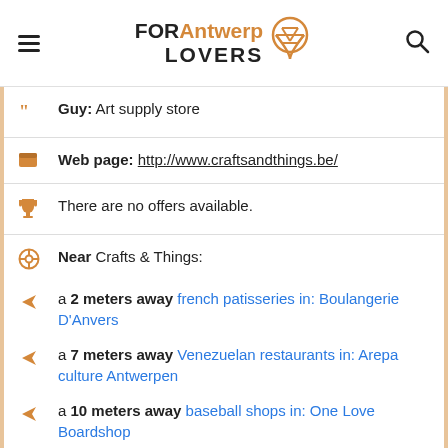FOR Antwerp LOVERS
Guy: Art supply store
Web page: http://www.craftsandthings.be/
There are no offers available.
Near Crafts & Things:
a 2 meters away french patisseries in: Boulangerie D'Anvers
a 7 meters away Venezuelan restaurants in: Arepa culture Antwerpen
a 10 meters away baseball shops in: One Love Boardshop
Are you the owner of the business? PROMOTE IT!